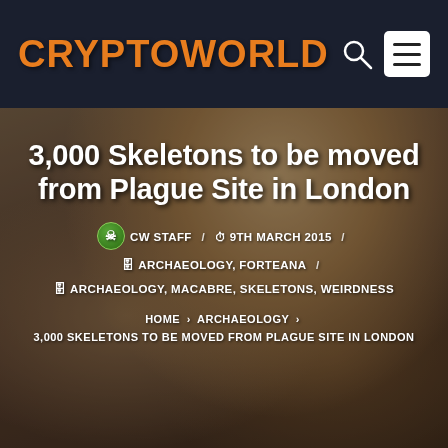CRYPTOWORLD
3,000 Skeletons to be moved from Plague Site in London
CW STAFF / 9TH MARCH 2015 / ARCHAEOLOGY, FORTEANA / ARCHAEOLOGY, MACABRE, SKELETONS, WEIRDNESS
HOME › ARCHAEOLOGY › 3,000 SKELETONS TO BE MOVED FROM PLAGUE SITE IN LONDON
[Figure (photo): Excavated skull and bones partially buried in brown soil/dirt at an archaeological dig site]
A team of 60 archaeologists have started excavating around 3,000 skeletons from the Bedlam burial ground near Liverpool Street Station